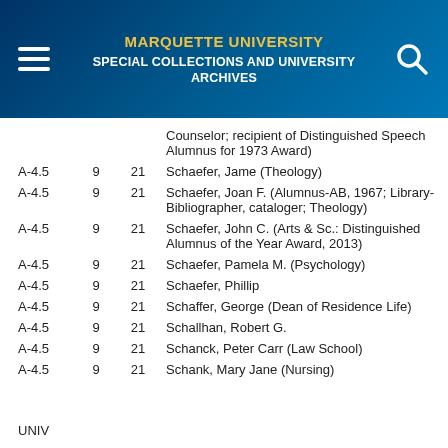MARQUETTE UNIVERSITY SPECIAL COLLECTIONS AND UNIVERSITY ARCHIVES
| Box | Folder | Item | Description |
| --- | --- | --- | --- |
|  |  |  | Counselor; recipient of Distinguished Speech Alumnus for 1973 Award) |
| A-4.5 | 9 | 21 | Schaefer, Jame (Theology) |
| A-4.5 | 9 | 21 | Schaefer, Joan F. (Alumnus-AB, 1967; Library-Bibliographer, cataloger; Theology) |
| A-4.5 | 9 | 21 | Schaefer, John C. (Arts & Sc.: Distinguished Alumnus of the Year Award, 2013) |
| A-4.5 | 9 | 21 | Schaefer, Pamela M. (Psychology) |
| A-4.5 | 9 | 21 | Schaefer, Phillip |
| A-4.5 | 9 | 21 | Schaffer, George (Dean of Residence Life) |
| A-4.5 | 9 | 21 | Schallhan, Robert G. |
| A-4.5 | 9 | 21 | Schanck, Peter Carr (Law School) |
| A-4.5 | 9 | 21 | Schank, Mary Jane (Nursing) |
UNIV